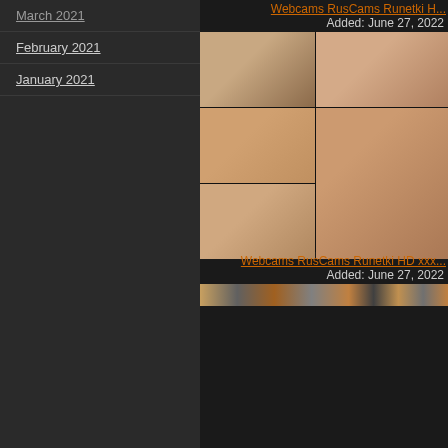March 2021
February 2021
January 2021
Webcams RusCams Runetki HD...
Added: June 27, 2022
[Figure (photo): Thumbnail grid of 6 images arranged in 2 columns and 3 rows]
Webcams RusCams Runetki HD xxx...
Added: June 27, 2022
[Figure (photo): Filmstrip thumbnail row at bottom]